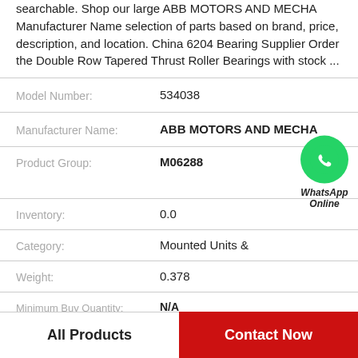searchable. Shop our large ABB MOTORS AND MECHA Manufacturer Name selection of parts based on brand, price, description, and location. China 6204 Bearing Supplier Order the Double Row Tapered Thrust Roller Bearings with stock ...
| Model Number: | 534038 |
| Manufacturer Name: | ABB MOTORS AND MECHA |
| Product Group: | M06288 |
| Inventory: | 0.0 |
| Category: | Mounted Units & |
| Weight: | 0.378 |
| Minimum Buy Quantity: | N/A |
All Products
Contact Now